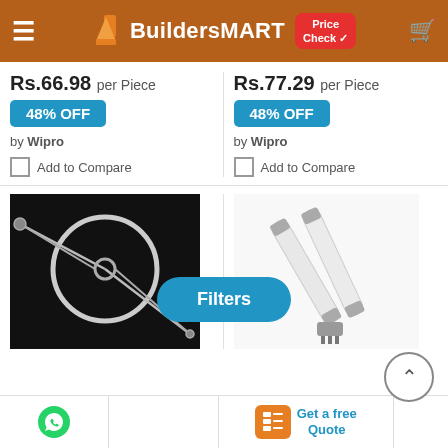BuildersMART - Price Check
Rs.66.98 per Piece
48% OFF
by Wipro
Add to Compare
Rs.77.29 per Piece
48% OFF
by Wipro
Add to Compare
[Figure (photo): Product image: suspension cable lamp set on black background - Lineos WVX 86 - WVX 825]
[Figure (photo): Product image: Philips Master LED Bulb fluorescent tube light on white background]
Filters
Suspension - Lineos WVX 86 - WVX 825_[Conventional]
Philips Master LED Bulb
M.R.P: 112.0000
Get a free Quote